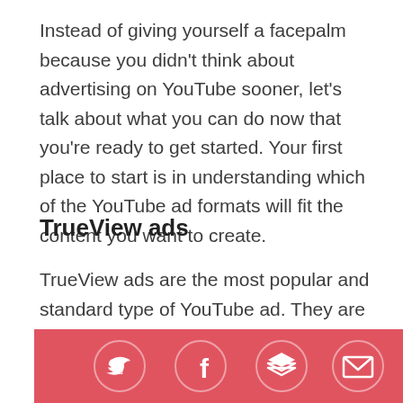Instead of giving yourself a facepalm because you didn't think about advertising on YouTube sooner, let's talk about what you can do now that you're ready to get started. Your first place to start is in understanding which of the YouTube ad formats will fit the content you want to create.
TrueView ads
TrueView ads are the most popular and standard type of YouTube ad. They are beneficial for the advertiser because you only pay when a user watches
[Figure (infographic): Social share bar with Twitter, Facebook, Layers/Buffer, and Email icons on a coral/red background]